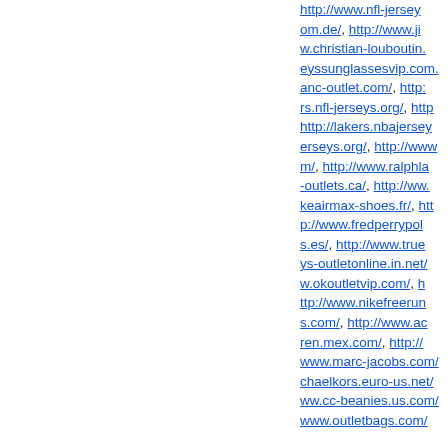http://www.nfl-jerseysom.de/, http://www.jiw.christian-louboutin.eyssunglassesvip.com/anc-outlet.com/, http://rs.nfl-jerseys.org/, http://http://lakers.nbajerseyerseys.org/, http://wwwm/, http://www.ralphlauren-outlets.ca/, http://www.nikeairmax-shoes.fr/, http://www.fredperrypolos.es/, http://www.truereligionys-outletonline.in.net/w.okoutletvip.com/, http://www.nikefreeruns.com/, http://www.adorenren.mex.com/, http://www.marc-jacobs.com/chaelkors.euro-us.net/ww.cc-beanies.us.com/www.outletbags.com/